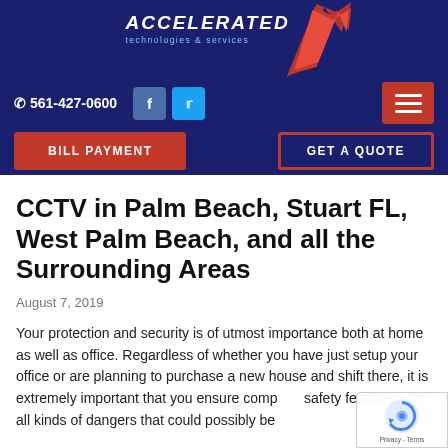[Figure (logo): Accelerated Technologies & Services logo with arrow graphic on dark blue background]
561-427-0600 | Facebook | Twitter | Menu | BILL PAYMENT | GET A QUOTE
CCTV in Palm Beach, Stuart FL, West Palm Beach, and all the Surrounding Areas
August 7, 2019
Your protection and security is of utmost importance both at home as well as office. Regardless of whether you have just setup your office or are planning to purchase a new house and shift there, it is extremely important that you ensure complete safety features from all kinds of dangers that could possibly be